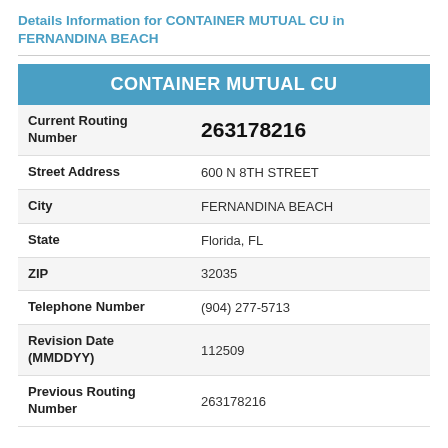Details Information for CONTAINER MUTUAL CU in FERNANDINA BEACH
| Field | Value |
| --- | --- |
| CONTAINER MUTUAL CU |  |
| Current Routing Number | 263178216 |
| Street Address | 600 N 8TH STREET |
| City | FERNANDINA BEACH |
| State | Florida, FL |
| ZIP | 32035 |
| Telephone Number | (904) 277-5713 |
| Revision Date (MMDDYY) | 112509 |
| Previous Routing Number | 263178216 |